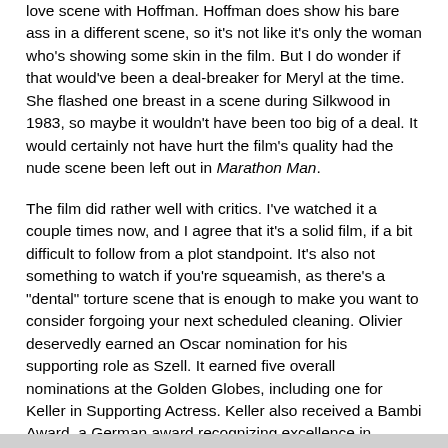love scene with Hoffman. Hoffman does show his bare ass in a different scene, so it's not like it's only the woman who's showing some skin in the film. But I do wonder if that would've been a deal-breaker for Meryl at the time. She flashed one breast in a scene during Silkwood in 1983, so maybe it wouldn't have been too big of a deal. It would certainly not have hurt the film's quality had the nude scene been left out in Marathon Man.
The film did rather well with critics. I've watched it a couple times now, and I agree that it's a solid film, if a bit difficult to follow from a plot standpoint. It's also not something to watch if you're squeamish, as there's a "dental" torture scene that is enough to make you want to consider forgoing your next scheduled cleaning. Olivier deservedly earned an Oscar nomination for his supporting role as Szell. It earned five overall nominations at the Golden Globes, including one for Keller in Supporting Actress. Keller also received a Bambi Award, a German award recognizing excellence in international media. The film is definitely worth taking the time to view.